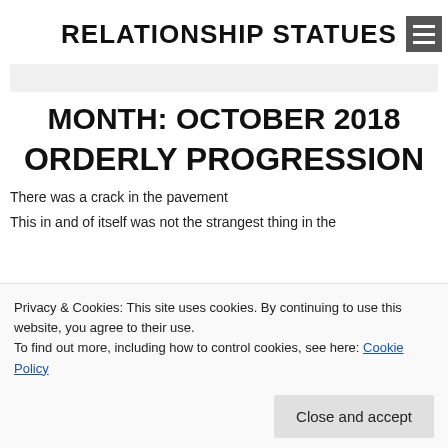RELATIONSHIP STATUES
MONTH: OCTOBER 2018
ORDERLY PROGRESSION
There was a crack in the pavement
This in and of itself was not the strangest thing in the world. Pavement cracked with worrisome regularity of
Privacy & Cookies: This site uses cookies. By continuing to use this website, you agree to their use.
To find out more, including how to control cookies, see here: Cookie Policy
Close and accept